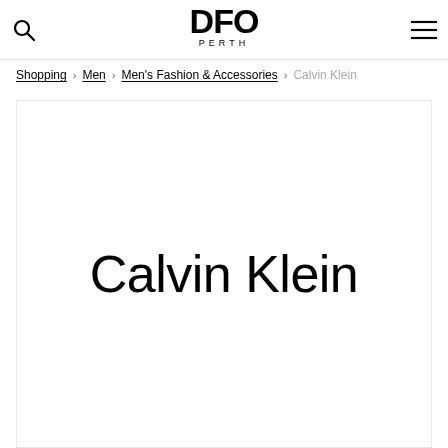DFO PERTH
Shopping > Men > Men's Fashion & Accessories > Calvin Klein
[Figure (logo): Calvin Klein brand logo in large black sans-serif text on white background]